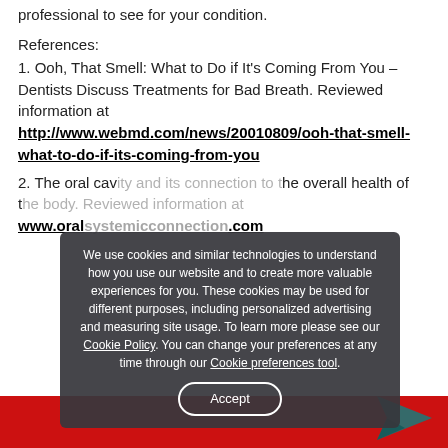professional to see for your condition.
References:
1. Ooh, That Smell: What to Do if It's Coming From You – Dentists Discuss Treatments for Bad Breath. Reviewed information at http://www.webmd.com/news/20010809/ooh-that-smell-what-to-do-if-its-coming-from-you
2. The oral cavity and its connection to the overall health of the body. Reviewed information at www.oralsystemicconnection.com
We use cookies and similar technologies to understand how you use our website and to create more valuable experiences for you. These cookies may be used for different purposes, including personalized advertising and measuring site usage. To learn more please see our Cookie Policy. You can change your preferences at any time through our Cookie preferences tool.